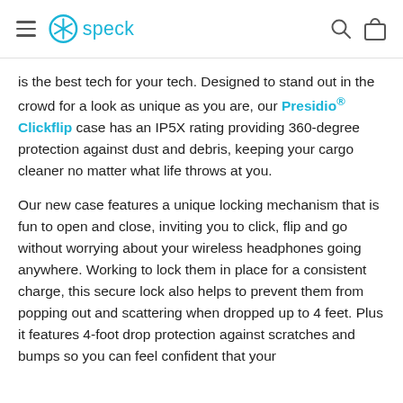speck (logo with hamburger menu, search, and bag icons)
is the best tech for your tech. Designed to stand out in the crowd for a look as unique as you are, our Presidio® Clickflip case has an IP5X rating providing 360-degree protection against dust and debris, keeping your cargo cleaner no matter what life throws at you.
Our new case features a unique locking mechanism that is fun to open and close, inviting you to click, flip and go without worrying about your wireless headphones going anywhere. Working to lock them in place for a consistent charge, this secure lock also helps to prevent them from popping out and scattering when dropped up to 4 feet. Plus it features 4-foot drop protection against scratches and bumps so you can feel confident that your